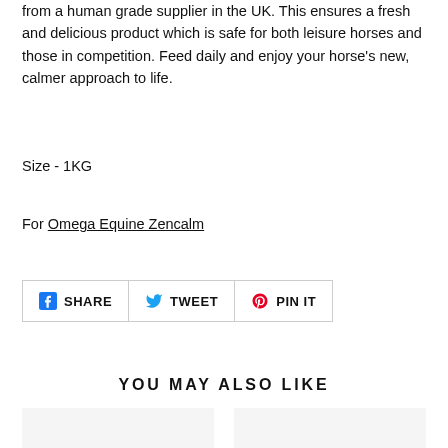from a human grade supplier in the UK. This ensures a fresh and delicious product which is safe for both leisure horses and those in competition. Feed daily and enjoy your horse's new, calmer approach to life.
Size - 1KG
For Omega Equine Zencalm
[Figure (infographic): Social sharing buttons: Facebook SHARE, Twitter TWEET, Pinterest PIN IT]
YOU MAY ALSO LIKE
[Figure (other): Two product card placeholders side by side]